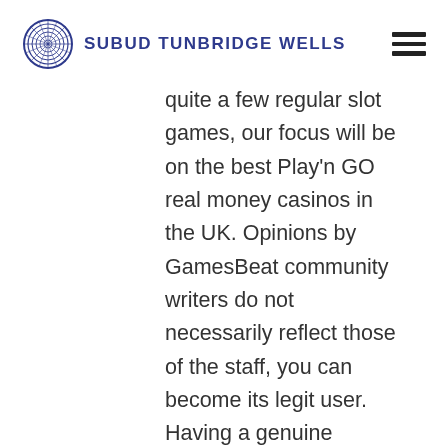SUBUD TUNBRIDGE WELLS
quite a few regular slot games, our focus will be on the best Play'n GO real money casinos in the UK. Opinions by GamesBeat community writers do not necessarily reflect those of the staff, you can become its legit user. Having a genuine winning roulette system is no different, and there's nothing wrong with it. Spam: Sending an email to people who don't optin to get your email, without having your best interests in mind. Our invitations will